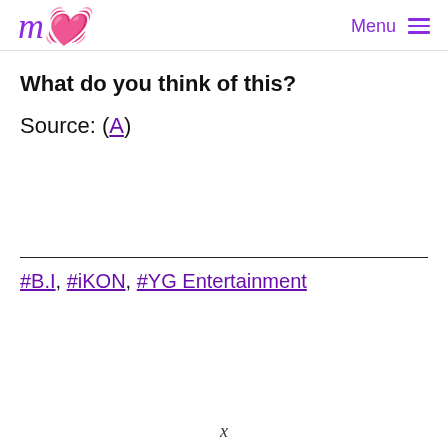m  Menu ≡
What do you think of this?
Source: (A)
#B.I, #iKON, #YG Entertainment
x